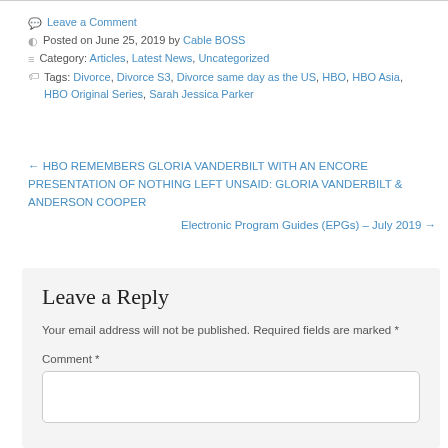💬 Leave a Comment
🕐 Posted on June 25, 2019 by Cable BOSS
≡ Category: Articles, Latest News, Uncategorized
🏷 Tags: Divorce, Divorce S3, Divorce same day as the US, HBO, HBO Asia, HBO Original Series, Sarah Jessica Parker
← HBO REMEMBERS GLORIA VANDERBILT WITH AN ENCORE PRESENTATION OF NOTHING LEFT UNSAID: GLORIA VANDERBILT & ANDERSON COOPER
Electronic Program Guides (EPGs) – July 2019 →
Leave a Reply
Your email address will not be published. Required fields are marked *
Comment *